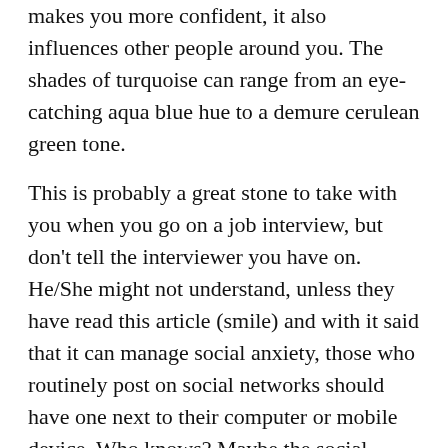makes you more confident, it also influences other people around you. The shades of turquoise can range from an eye-catching aqua blue hue to a demure cerulean green tone.
This is probably a great stone to take with you when you go on a job interview, but don't tell the interviewer you have on. He/She might not understand, unless they have read this article (smile) and with it said that it can manage social anxiety, those who routinely post on social networks should have one next to their computer or mobile device. Who knows? Maybe the social media world would become a little more friendlier!
Moonstone
Considered to be a personal stone with a feminine energy, the moonstone is a crystal which brings happiness, abundance, and improved relationships into one's life. The stone is said to protect from negativity and can calm the mind with ease. It also relieves stress and anxiety.